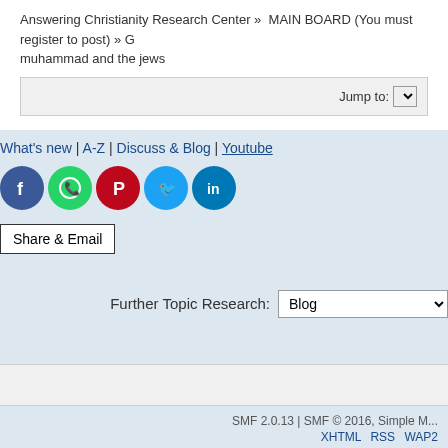Answering Christianity Research Center » MAIN BOARD (You must register to post) » G... muhammad and the jews
Jump to:
What's new | A-Z | Discuss & Blog | Youtube
[Figure (other): Social media share icons: Facebook, WhatsApp, Pinterest, Twitter, LinkedIn]
Share & Email
Further Topic Research: Blog
SMF 2.0.13 | SMF © 2016, Simple M...
XHTML RSS WAP2